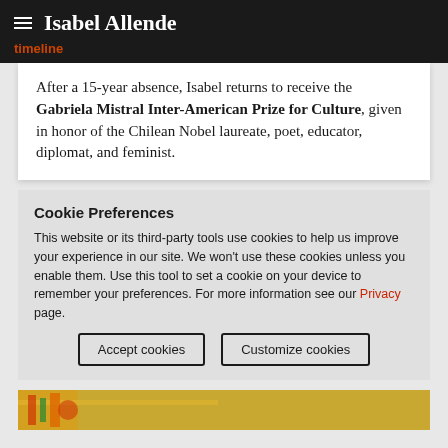Isabel Allende
timeline
After a 15-year absence, Isabel returns to receive the Gabriela Mistral Inter-American Prize for Culture, given in honor of the Chilean Nobel laureate, poet, educator, diplomat, and feminist.
Cookie Preferences
This website or its third-party tools use cookies to help us improve your experience in our site. We won't use these cookies unless you enable them. Use this tool to set a cookie on your device to remember your preferences. For more information see our Privacy page.
Accept cookies
Customize cookies
[Figure (photo): Partial view of a colorful book cover at the bottom of the page]